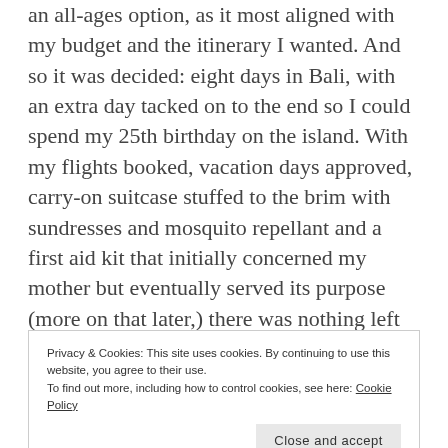an all-ages option, as it most aligned with my budget and the itinerary I wanted. And so it was decided: eight days in Bali, with an extra day tacked on to the end so I could spend my 25th birthday on the island. With my flights booked, vacation days approved, carry-on suitcase stuffed to the brim with sundresses and mosquito repellant and a first aid kit that initially concerned my mother but eventually served its purpose (more on that later,) there was nothing left to do but wait for the summer to tick by. Because in September, on the other side of a 15-hour flight to Hong Kong – the longest I've ever endured – and another 5 hours to Denpasar, the adventure of a lifetime
Privacy & Cookies: This site uses cookies. By continuing to use this website, you agree to their use.
To find out more, including how to control cookies, see here: Cookie Policy
Close and accept
[Figure (photo): Three small thumbnail photos at bottom of page showing Bali scenes]